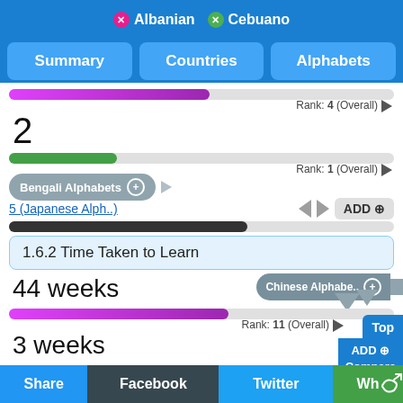Albanian  Cebuano
Summary | Countries | Alphabets
Rank: 4 (Overall)
2
Rank: 1 (Overall)
Bengali Alphabets
5 (Japanese Alph..)  ADD
1.6.2 Time Taken to Learn
Chinese Alphabe..
44 weeks
Rank: 11 (Overall)
3 weeks
Rank: 1 (Overall)
Cebuano Alphabets
44 (Polish Alphab..)  ADD
Share  Facebook  Twitter  Wh..